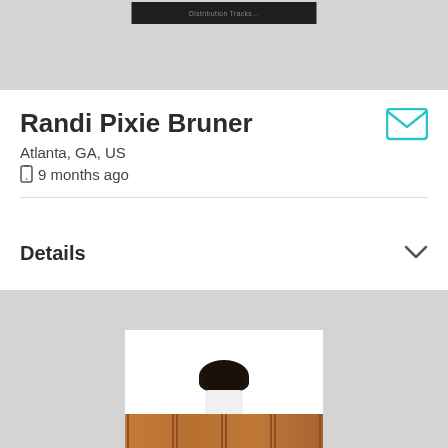[Figure (screenshot): Top banner image with dark background and small text, partial view]
Randi Pixie Bruner
Atlanta, GA, US
9 months ago
Details
[Figure (photo): A person with curly hair standing in front of a wooden fence, wearing white, partial view]